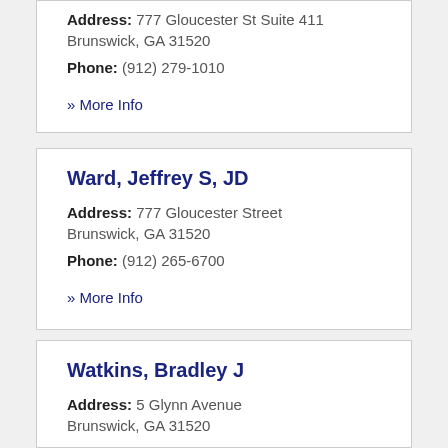Address: 777 Gloucester St Suite 411
Brunswick, GA 31520
Phone: (912) 279-1010
» More Info
Ward, Jeffrey S, JD
Address: 777 Gloucester Street
Brunswick, GA 31520
Phone: (912) 265-6700
» More Info
Watkins, Bradley J
Address: 5 Glynn Avenue
Brunswick, GA 31520